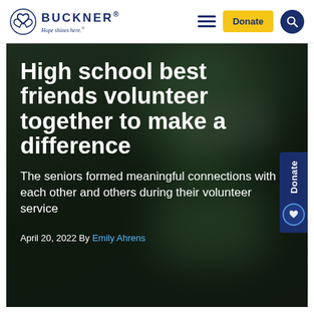BUCKNER® Hope shines here.
[Figure (photo): Hero image with dark blurred background showing volunteers. Contains article title, subtitle, and byline overlaid on the image.]
High school best friends volunteer together to make a difference
The seniors formed meaningful connections with each other and others during their volunteer service
April 20, 2022 By Emily Ahrens